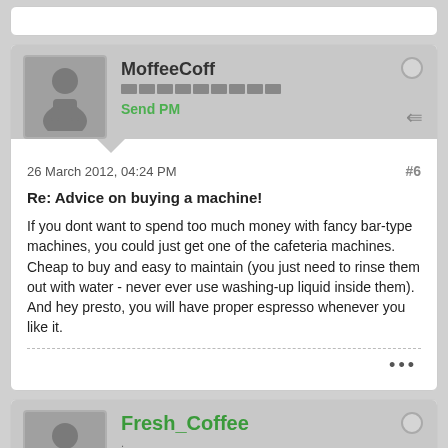MoffeeCoff
Send PM
26 March 2012, 04:24 PM
#6
Re: Advice on buying a machine!
If you dont want to spend too much money with fancy bar-type machines, you could just get one of the cafeteria machines. Cheap to buy and easy to maintain (you just need to rinse them out with water - never ever use washing-up liquid inside them). And hey presto, you will have proper espresso whenever you like it.
Fresh_Coffee
Join Date: Aug 04   Posts: 2312   Send PM